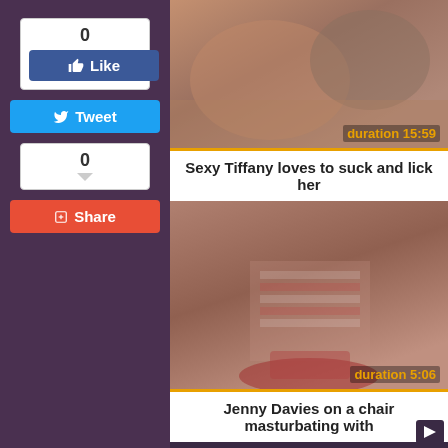[Figure (other): Facebook Like button with count 0 above it]
[Figure (other): Twitter Tweet button]
[Figure (other): Comment count box showing 0 with speech bubble indicator]
[Figure (other): Red Share button]
[Figure (photo): Video thumbnail showing a couple on a couch, woman in pink dress, man in blue striped shirt]
duration 15:59
Sexy Tiffany loves to suck and lick her
[Figure (photo): Video thumbnail showing a woman in striped dress sitting on a red chair]
duration 5:06
Jenny Davies on a chair masturbating with